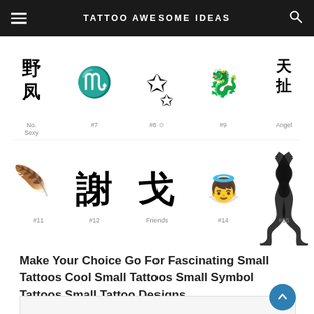TATTOO AWESOME IDEAS
[Figure (illustration): Grid of small tattoo designs including Chinese/Japanese kanji characters, a scorpion, star outlines, a dragon, angel/spiritual symbol and tribal design. Labels visible include: Sexy, #7, #8 (star), #9 (dragon), Angel, #11, #12, Friends, #14, #15. Two rows of five designs each on white background.]
Make Your Choice Go For Fascinating Small Tattoos Cool Small Tattoos Small Symbol Tattoos Small Tattoo Designs